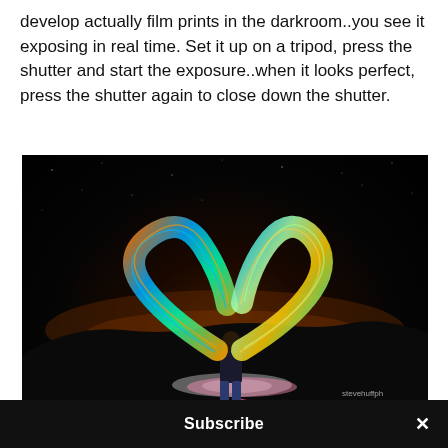develop actually film prints in the darkroom..you see it exposing in real time. Set it up on a tripod, press the shutter and start the exposure..when it looks perfect, press the shutter again to close down the shutter.
[Figure (photo): Night photography / long exposure light painting photo showing a person standing outdoors at night surrounded by colorful swirling light trails forming wing-like shapes. The ground glows with pink and white light beneath the figure. Watermark reads 'stevehuffph' in bottom right corner.]
Subscribe